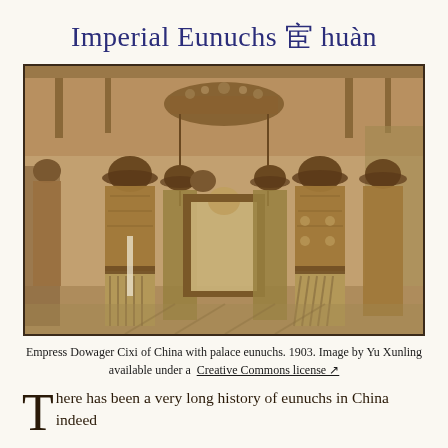Imperial Eunuchs 宦 huàn
[Figure (photo): Sepia photograph from 1903 showing Empress Dowager Cixi of China seated in a palanquin surrounded by palace eunuchs in traditional ornate robes and hats, taken by Yu Xunling.]
Empress Dowager Cixi of China with palace eunuchs. 1903. Image by Yu Xunling available under a Creative Commons license ↗
There has been a very long history of eunuchs in China indeed